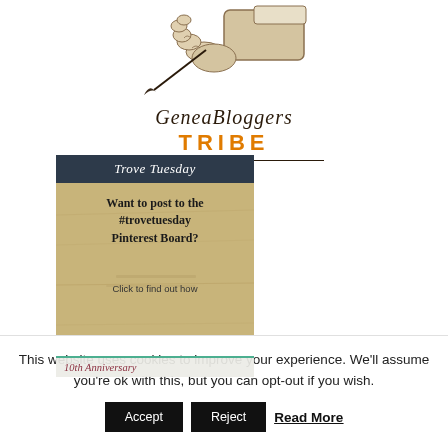[Figure (logo): GeneaBloggers TRIBE logo with vintage hand holding quill illustration above serif italic 'GeneaBloggers' text and bold orange 'TRIBE' lettering]
[Figure (illustration): Trove Tuesday promotional card with dark header reading 'Trove Tuesday', aged parchment background, text 'Want to post to the #trovetuesday Pinterest Board?', 'Click to find out how', and '10th Anniversary' footer banner]
This website uses cookies to improve your experience. We'll assume you're ok with this, but you can opt-out if you wish.
Accept   Reject   Read More